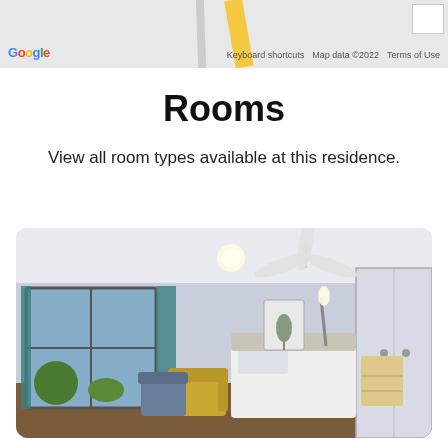[Figure (screenshot): Google Maps strip showing a partial street map with a yellow road, grey road, Google logo, keyboard shortcuts, map data notice, and terms of use link. A white square is visible in the top right corner.]
Rooms
View all room types available at this residence.
[Figure (photo): Interior photo of a residential aged care room showing a single adjustable bed with grey bedding, a ceiling fan, large windows with teal curtains, a mustard yellow armchair, a blue-grey armchair, a bedside dresser, a wall-mounted light, a botanical print on the wall, and built-in white wardrobes on the right side. The room has light purple-grey walls.]